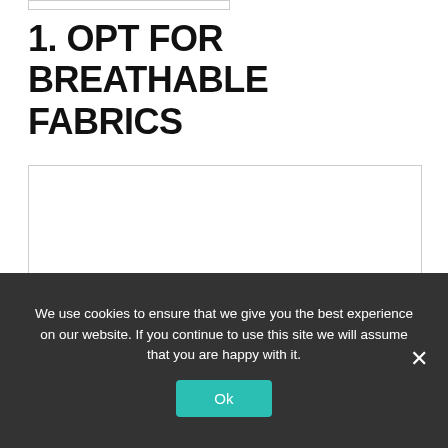1. OPT FOR BREATHABLE FABRICS
[Figure (photo): Empty white image placeholder box with light gray border]
We use cookies to ensure that we give you the best experience on our website. If you continue to use this site we will assume that you are happy with it.